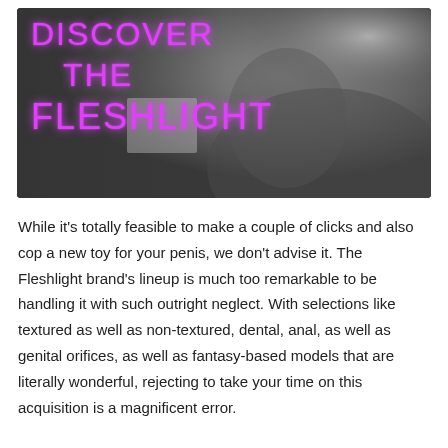[Figure (photo): Black and white photo of a woman with text overlay reading DISCOVER THE FLESHLIGHT in pink neon-style lettering]
While it's totally feasible to make a couple of clicks and also cop a new toy for your penis, we don't advise it. The Fleshlight brand's lineup is much too remarkable to be handling it with such outright neglect. With selections like textured as well as non-textured, dental, anal, as well as genital orifices, as well as fantasy-based models that are literally wonderful, rejecting to take your time on this acquisition is a magnificent error.